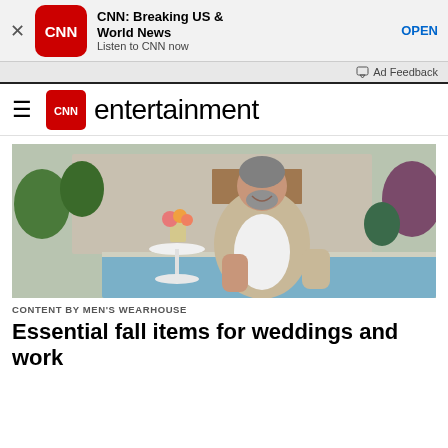[Figure (screenshot): CNN app advertisement banner with red CNN logo, app title 'CNN: Breaking US & World News', subtitle 'Listen to CNN now', and OPEN button]
Ad Feedback
CNN entertainment
[Figure (photo): Middle-aged man with gray beard smiling, wearing a beige blazer, standing outdoors by a pool at an event venue with flowers and greenery in the background]
CONTENT BY MEN'S WEARHOUSE
Essential fall items for weddings and work